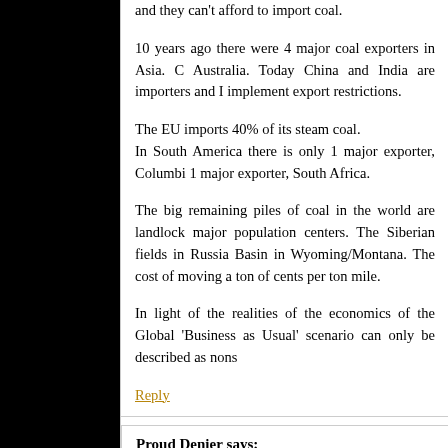and they can't afford to import coal.
10 years ago there were 4 major coal exporters in Asia. China, India, Indonesia, Australia. Today China and India are importers and Indonesia is about to implement export restrictions.
The EU imports 40% of its steam coal. In South America there is only 1 major exporter, Columbia. In Africa there is 1 major exporter, South Africa.
The big remaining piles of coal in the world are landlocked and far from major population centers. The Siberian fields in Russia and the Powder River Basin in Wyoming/Montana. The cost of moving a ton of coal overland is about 4 cents per ton mile.
In light of the realities of the economics of the Global coal market the 'Business as Usual' scenario can only be described as nons
Reply
Proud Denier says: